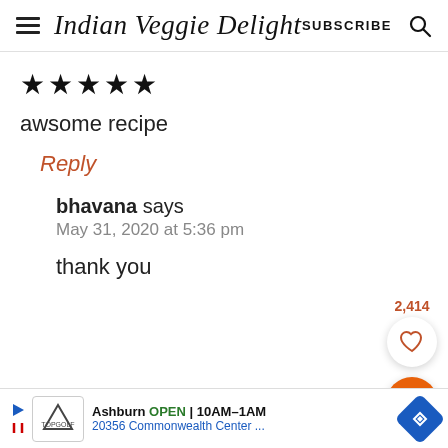Indian Veggie Delight  SUBSCRIBE
★★★★★
awsome recipe
Reply
bhavana says
May 31, 2020 at 5:36 pm
thank you
[Figure (other): Floating heart/like button with count 2,414 and orange search button]
Ashburn OPEN 10AM–1AM  20356 Commonwealth Center ...